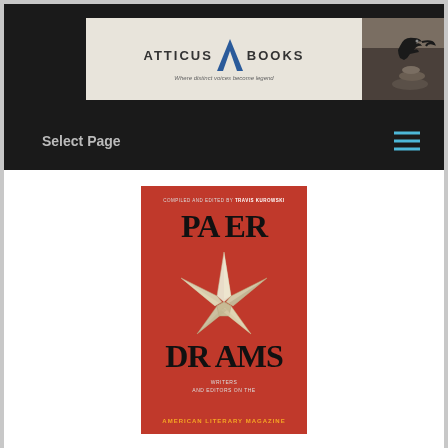[Figure (logo): Atticus Books logo banner with triangle/tree logo, crow photo on dark background, and tagline 'Where distinct voices become legend']
Select Page
[Figure (photo): Book cover for 'Paper Dreams: Writers and Editors on the American Literary Magazine', compiled and edited by Travis Kurowski. Red cover with large paper star graphic and bold black title text.]